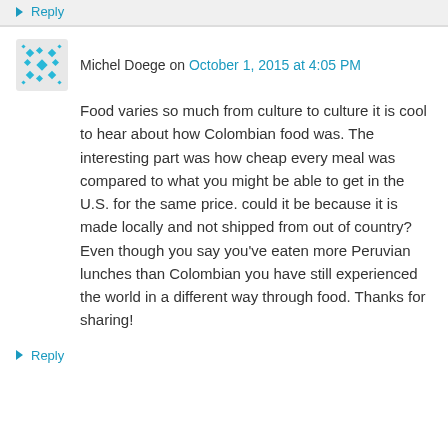↪ Reply
Michel Doege on October 1, 2015 at 4:05 PM
Food varies so much from culture to culture it is cool to hear about how Colombian food was. The interesting part was how cheap every meal was compared to what you might be able to get in the U.S. for the same price. could it be because it is made locally and not shipped from out of country?Even though you say you've eaten more Peruvian lunches than Colombian you have still experienced the world in a different way through food. Thanks for sharing!
↪ Reply